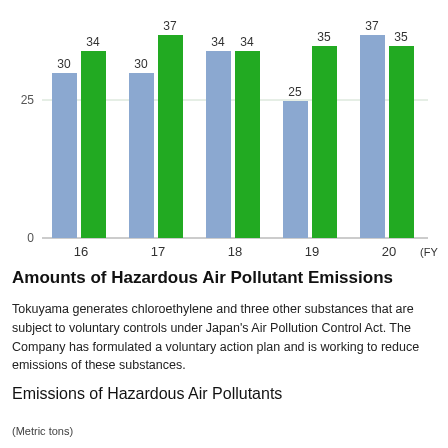[Figure (grouped-bar-chart): ]
Amounts of Hazardous Air Pollutant Emissions
Tokuyama generates chloroethylene and three other substances that are subject to voluntary controls under Japan's Air Pollution Control Act. The Company has formulated a voluntary action plan and is working to reduce emissions of these substances.
Emissions of Hazardous Air Pollutants
(Metric tons)